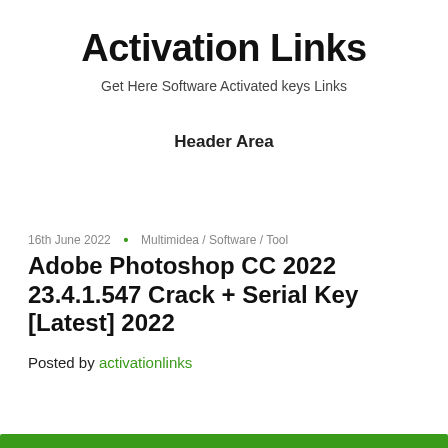Activation Links
Get Here Software Activated keys Links
Header Area
16th June 2022  •  Multimidea / Software / Tool
Adobe Photoshop CC 2022 23.4.1.547 Crack + Serial Key [Latest] 2022
Posted by activationlinks